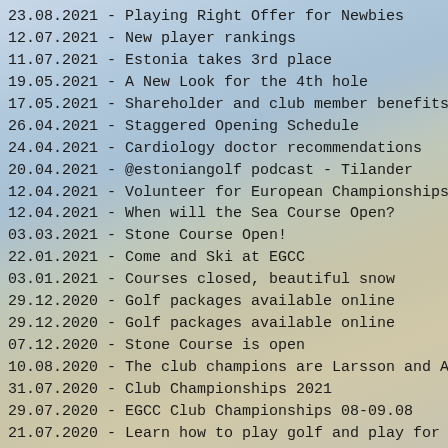23.08.2021 - Playing Right Offer for Newbies
12.07.2021 - New player rankings
11.07.2021 - Estonia takes 3rd place
19.05.2021 - A New Look for the 4th hole
17.05.2021 - Shareholder and club member benefits
26.04.2021 - Staggered Opening Schedule
24.04.2021 - Cardiology doctor recommendations
20.04.2021 - @estoniangolf podcast - Tilander
12.04.2021 - Volunteer for European Championships in Estonia
12.04.2021 - When will the Sea Course Open?
03.03.2021 - Stone Course Open!
22.01.2021 - Come and Ski at EGCC
03.01.2021 - Courses closed, beautiful snow
29.12.2020 - Golf packages available online
29.12.2020 - Golf packages available online
07.12.2020 - Stone Course is open
10.08.2020 - The club champions are Larsson and Adul
31.07.2020 - Club Championships 2021
29.07.2020 - EGCC Club Championships 08-09.08
21.07.2020 - Learn how to play golf and play for just 59€ per